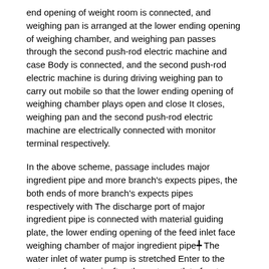end opening of weight room is connected, and weighing pan is arranged at the lower ending opening of weighing chamber, and weighing pan passes through the second push-rod electric machine and case Body is connected, and the second push-rod electric machine is during driving weighing pan to carry out mobile so that the lower ending opening of weighing chamber plays open and close It closes, weighing pan and the second push-rod electric machine are electrically connected with monitor terminal respectively.
In the above scheme, passage includes major ingredient pipe and more branch's expects pipes, the both ends of more branch's expects pipes respectively with The discharge port of major ingredient pipe is connected with material guiding plate, the lower ending opening of the feed inlet face weighing chamber of major ingredient pipe╇ The water inlet of water pump is stretched Enter to the water surface hereinafter, the water outlet of water pump is connected with the inner cavity of major ingredient pipe.
In the above scheme, passage further includes multiple seismic mass, on major ingredient pipe in a ring be